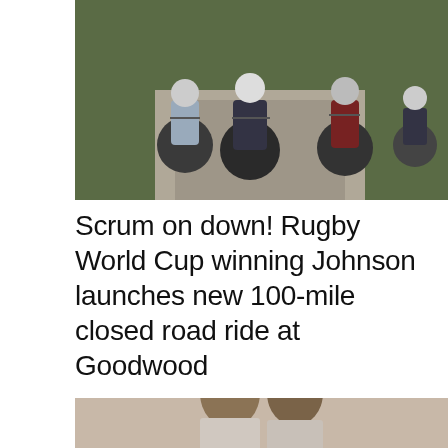[Figure (photo): cyclists riding road bikes on a narrow road surrounded by green trees/hedges; multiple riders in cycling kit]
Scrum on down! Rugby World Cup winning Johnson launches new 100-mile closed road ride at Goodwood
[Figure (photo): Two women with long brown hair, partial view, cropped at bottom of page]